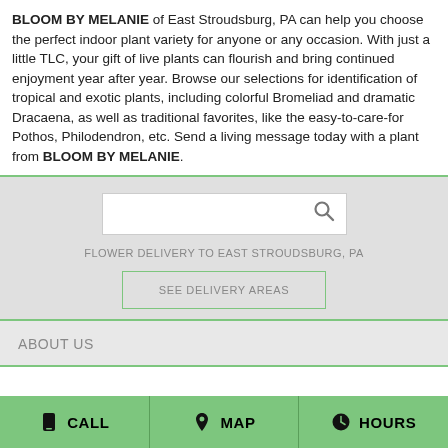BLOOM BY MELANIE of East Stroudsburg, PA can help you choose the perfect indoor plant variety for anyone or any occasion. With just a little TLC, your gift of live plants can flourish and bring continued enjoyment year after year. Browse our selections for identification of tropical and exotic plants, including colorful Bromeliad and dramatic Dracaena, as well as traditional favorites, like the easy-to-care-for Pothos, Philodendron, etc. Send a living message today with a plant from BLOOM BY MELANIE.
[Figure (screenshot): Search box with magnifying glass icon on grey background]
FLOWER DELIVERY TO EAST STROUDSBURG, PA
SEE DELIVERY AREAS
ABOUT US
CALL   MAP   HOURS